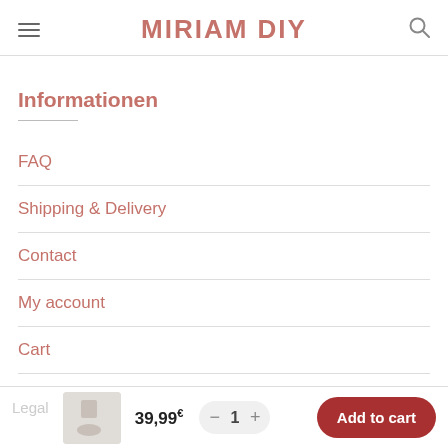MIRIAM DIY
Informationen
FAQ
Shipping & Delivery
Contact
My account
Cart
Legal
39,99€
1
Add to cart